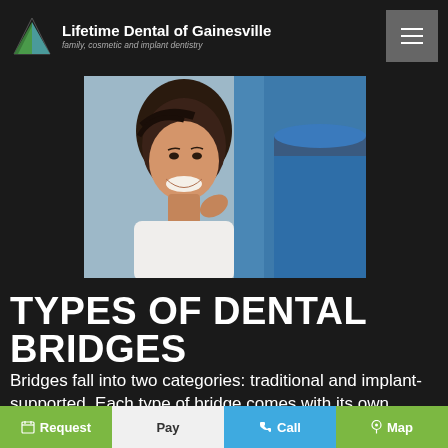Lifetime Dental of Gainesville — family, cosmetic and implant dentistry
[Figure (photo): A smiling woman in a white blouse at a dental office, with a dental professional in blue scrubs beside her]
TYPES OF DENTAL BRIDGES
Bridges fall into two categories: traditional and implant-supported. Each type of bridge comes with its own unique benefits, but the
Request | Pay | Call | Map